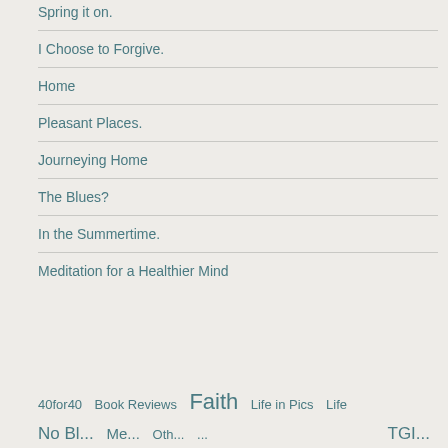Spring it on.
I Choose to Forgive.
Home
Pleasant Places.
Journeying Home
The Blues?
In the Summertime.
Meditation for a Healthier Mind
40for40  Book Reviews  Faith  Life in Pics  Life  No Bl... Me...  Oth...  ...  TGI...